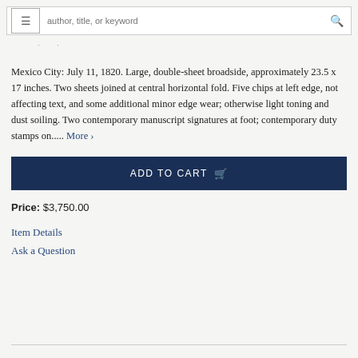author, title, or keyword [search bar with menu and search icons]
Mexico City: July 11, 1820. Large, double-sheet broadside, approximately 23.5 x 17 inches. Two sheets joined at central horizontal fold. Five chips at left edge, not affecting text, and some additional minor edge wear; otherwise light toning and dust soiling. Two contemporary manuscript signatures at foot; contemporary duty stamps on..... More ›
ADD TO CART
Price: $3,750.00
Item Details
Ask a Question